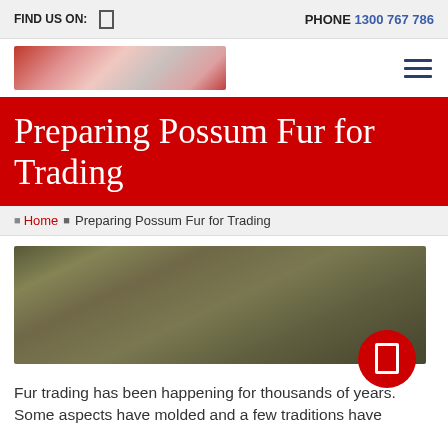FIND US ON:  |  PHONE 1300 767 786
[Figure (logo): Website logo image (blurred/redacted red and pink tones)]
Preparing Possum Fur for Trading
Home › Preparing Possum Fur for Trading
[Figure (photo): Blurred dark olive/brown background photo with a red circular play button overlay on the bottom right]
Fur trading has been happening for thousands of years. Some aspects have molded and a few traditions have